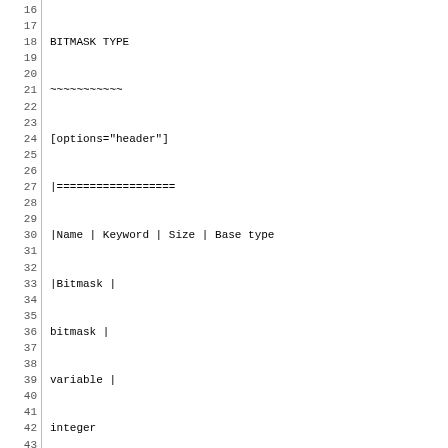BITMASK TYPE
~~~~~~~~~~~
[options="header"]
|==================
|Name | Keyword | Size | Base type
|Bitmask |
bitmask |
variable |
integer
|==================
The bitmask type (*bitmask*) is used for bitma
STRING TYPE
~~~~~~~~~~
[options="header"]
|==================
|Name | Keyword | Size | Base type
|String |
string |
variable |
-
|==================
The string type is used for character strings. alphabetic character (a-zA-Z) followed by zero or the characters /, -, _ and .. In addition, quotes (") is recognized as a string.
String specification